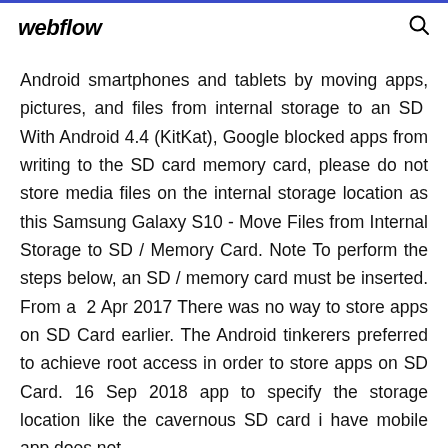webflow
Android smartphones and tablets by moving apps, pictures, and files from internal storage to an SD  With Android 4.4 (KitKat), Google blocked apps from writing to the SD card memory card, please do not store media files on the internal storage location as this Samsung Galaxy S10 - Move Files from Internal Storage to SD / Memory Card. Note To perform the steps below, an SD / memory card must be inserted. From a  2 Apr 2017 There was no way to store apps on SD Card earlier. The Android tinkerers preferred to achieve root access in order to store apps on SD Card. 16 Sep 2018 app to specify the storage location like the cavernous SD card i have mobile app does not